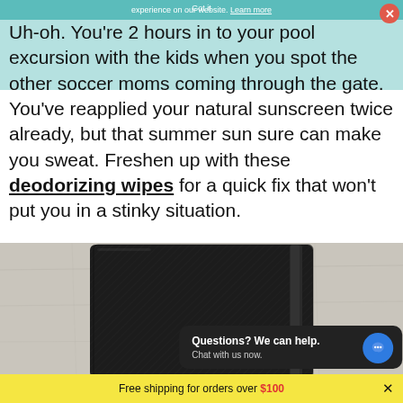experience on our website. Learn more | Got it
Uh-oh. You're 2 hours in to your pool excursion with the kids when you spot the other soccer moms coming through the gate. You've reapplied your natural sunscreen twice already, but that summer sun sure can make you sweat. Freshen up with these deodorizing wipes for a quick fix that won't put you in a stinky situation.
[Figure (photo): A black Moleskine-style notebook with elastic band closure on a light grey stone/concrete background]
Questions? We can help.
Chat with us now.
Free shipping for orders over $100